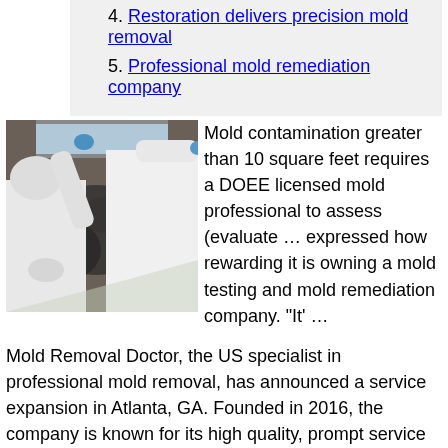4. Restoration delivers precision mold removal
5. Professional mold remediation company
[Figure (photo): Two workers in white hazmat suits and blue gloves removing mold from a dark-mold-covered concrete wall near a window.]
Mold contamination greater than 10 square feet requires a DOEE licensed mold professional to assess (evaluate … expressed how rewarding it is owning a mold testing and mold remediation company. "It' …
Mold Removal Doctor, the US specialist in professional mold removal, has announced a service expansion in Atlanta, GA. Founded in 2016, the company is known for its high quality, prompt service …